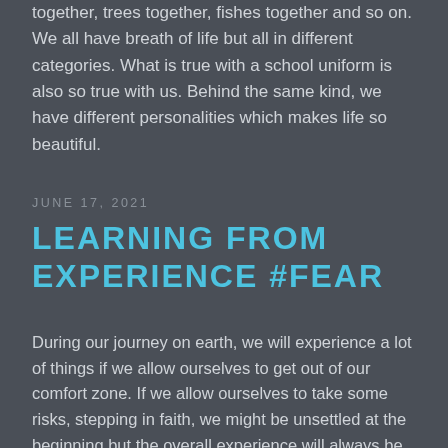together, trees together, fishes together and so on. We all have breath of life but all in different categories. What is true with a school uniform is also so true with us. Behind the same kind, we have different personalities which makes life so beautiful.
JUNE 17, 2021
LEARNING FROM EXPERIENCE #FEAR
During our journey on earth, we will experience a lot of things if we allow ourselves to get out of our comfort zone. If we allow ourselves to take some risks, stepping in faith, we might be unsettled at the beginning but the overall experience will always be beneficial to us.